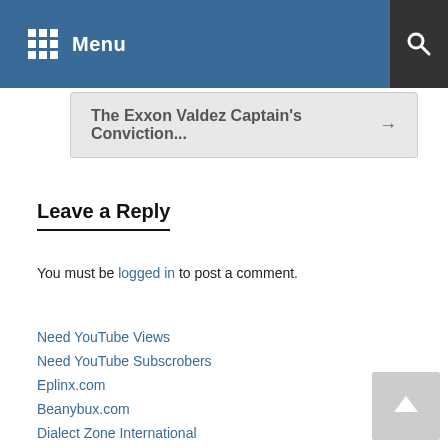Menu
The Exxon Valdez Captain's Conviction... →
Leave a Reply
You must be logged in to post a comment.
Need YouTube Views
Need YouTube Subscrobers
Eplinx.com
Beanybux.com
Dialect Zone International
WorkingTeddy.com
TikiFieds.com
Beanyhost.com
Beanyblogger.com
Tinyplease.com